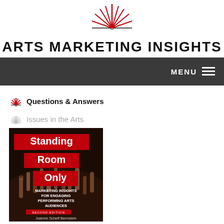[Figure (logo): Arts Marketing Insights logo with red starburst/spark graphic above the site title text]
ARTS MARKETING INSIGHTS
MENU
Questions & Answers
Issues in the Arts
[Figure (photo): Book cover: 'Standing Room Only – Marketing Insights for Engaging Performing Arts Audiences, Second Edition' by Joanne Scheff Bernstein. Dark background with crowd raising hands, red title banners.]